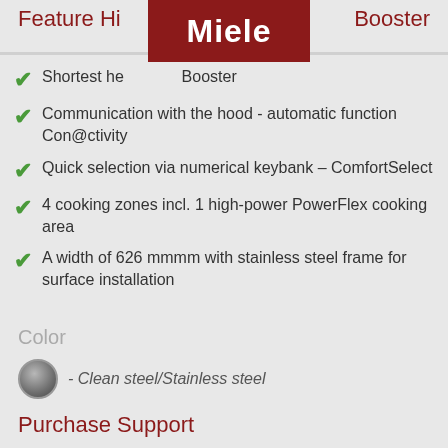Feature Hi...
[Figure (logo): Miele brand logo — white bold text 'Miele' on dark red background]
Shortest he... Booster
Communication with the hood - automatic function Con@ctivity
Quick selection via numerical keybank – ComfortSelect
4 cooking zones incl. 1 high-power PowerFlex cooking area
A width of 626 mmmm with stainless steel frame for surface installation
Color
- Clean steel/Stainless steel
Purchase Support